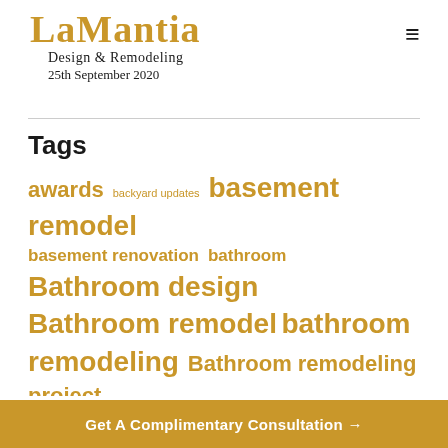LaMantia Design & Remodeling 25th September 2020
Tags
awards backyard updates basement remodel basement renovation bathroom Bathroom design Bathroom remodel bathroom remodeling Bathroom remodeling project bathroom renovation bathroom renovations BBQ parties chrysalis award coffered ceiling Custom kitchen design design build company DIY kitchen remodel eco-friendly home design exterior exterior home design Exterior renovations Family room renovation fixer upper foyer HFLOG hinsdale
Get A Complimentary Consultation →